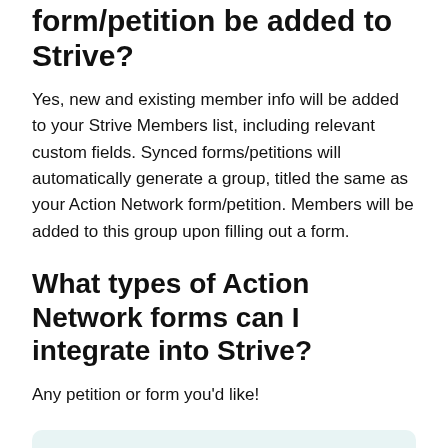form/petition be added to Strive?
Yes, new and existing member info will be added to your Strive Members list, including relevant custom fields. Synced forms/petitions will automatically generate a group, titled the same as your Action Network form/petition. Members will be added to this group upon filling out a form.
What types of Action Network forms can I integrate into Strive?
Any petition or form you'd like!
Note: In order for your forms to properly integrate, your Action